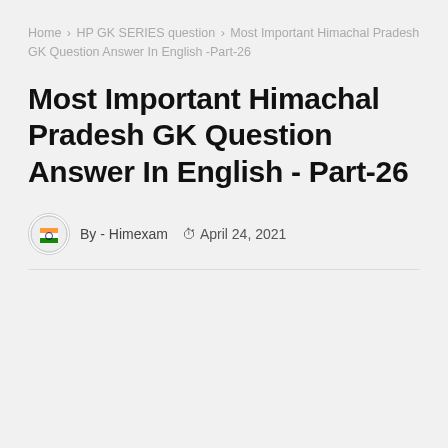Home > HP GK SERIES question > Most Important Himachal Pradesh GK Question Answer In English -Part-26
Most Important Himachal Pradesh GK Question Answer In English - Part-26
By - Himexam   April 24, 2021